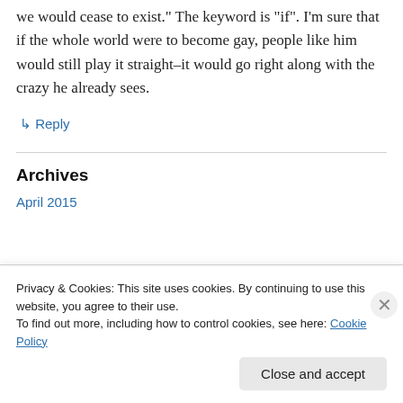we would cease to exist.” The keyword is “if”. I’m sure that if the whole world were to become gay, people like him would still play it straight–it would go right along with the crazy he already sees.
↳ Reply
Archives
April 2015
Privacy & Cookies: This site uses cookies. By continuing to use this website, you agree to their use.
To find out more, including how to control cookies, see here: Cookie Policy
Close and accept